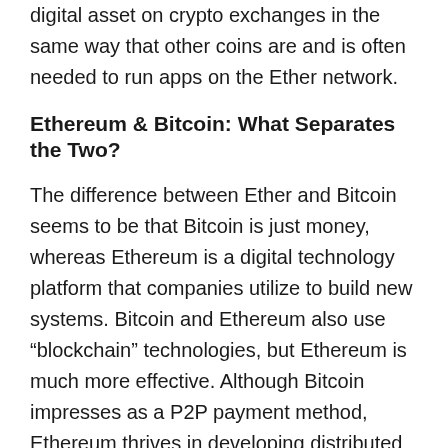digital asset on crypto exchanges in the same way that other coins are and is often needed to run apps on the Ether network.
Ethereum & Bitcoin: What Separates the Two?
The difference between Ether and Bitcoin seems to be that Bitcoin is just money, whereas Ethereum is a digital technology platform that companies utilize to build new systems. Bitcoin and Ethereum also use “blockchain” technologies, but Ethereum is much more effective. Although Bitcoin impresses as a P2P payment method, Ethereum thrives in developing distributed apps and virtual or smart contracts. It is entirely up to you to make your decision regarding a champion between the two leading cryptos.